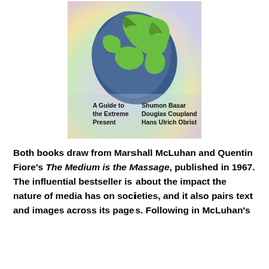[Figure (illustration): Book cover with holographic/iridescent background featuring a globe illustration with green landmasses on blue ocean. Text on cover reads: 'A Guide to the Extreme Present' on the left and 'Shumon Basar, Douglas Coupland, Hans Ulrich Obrist' on the right.]
Both books draw from Marshall McLuhan and Quentin Fiore's The Medium is the Massage, published in 1967. The influential bestseller is about the impact the nature of media has on societies, and it also pairs text and images across its pages. Following in McLuhan's